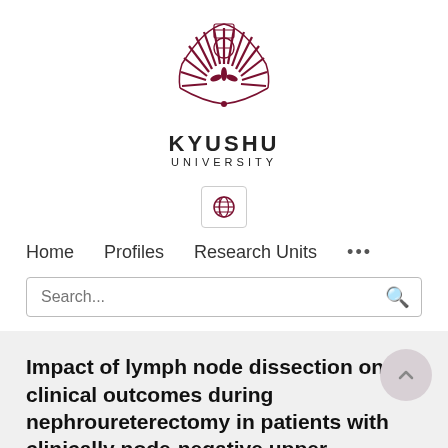[Figure (logo): Kyushu University logo — a dark red/maroon sunburst crest with radiating feather-like lines and a small emblem at center]
KYUSHU
UNIVERSITY
[Figure (other): Globe/language selector button — small globe icon inside a bordered rounded-rectangle button]
Home    Profiles    Research Units    ...
Search...
Impact of lymph node dissection on clinical outcomes during nephroureterectomy in patients with clinically node-negative upper